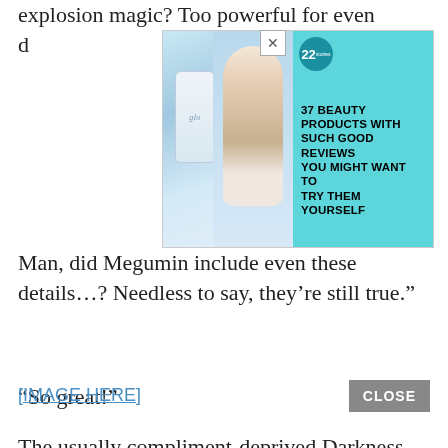explosion magic? Too powerful for even d
[Figure (photo): Advertisement banner: beauty product ad showing a bottle of 'glo' product and a woman, with teal/cyan background. Text reads '22' in a circle, '37 BEAUTY PRODUCTS WITH SUCH GOOD REVIEWS YOU MIGHT WANT TO TRY THEM YOURSELF']
Man, did Megumin include even these details...? Needless to say, they’re still true.”
“So great!”
The usually compliment-deprived Darkness abused this opportunity to fish for admiration from Komekko.
[IMAGE HERE]
CLOSE